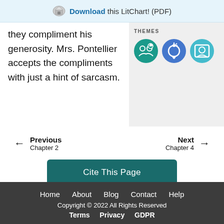Download this LitChart! (PDF)
they compliment his generosity. Mrs. Pontellier accepts the compliments with just a hint of sarcasm.
[Figure (illustration): Three circular theme icons: teal circle with people/star icon, blue circle with gender/circle icon, light blue circle with portrait/frame icon]
Previous Chapter 2
Next Chapter 4
Cite This Page
Home About Blog Contact Help Copyright © 2022 All Rights Reserved Terms Privacy GDPR